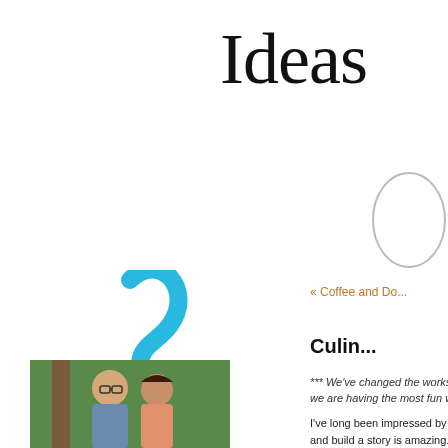Ideas
[Figure (illustration): Partial oval/ellipse outline shape, top right corner]
« Coffee and Do...
Culin...
*** We've changed the workshop topics b... we are having the most fun with in our ki...
[Figure (logo): Curiosity Doughnuts logo: blue question mark swirl above text 'curiosity doughnuts' in yellow and orange, with tagline 'Adventures in Doughnutland.']
[Figure (photo): Photo of a man with glasses and a woman outdoors with greenery in background]
I've long been impressed by improv grou... and build a story is amazing. It requires a... two talents that are very much in demand... and running with for while before you tos... interesting places that you may not have...